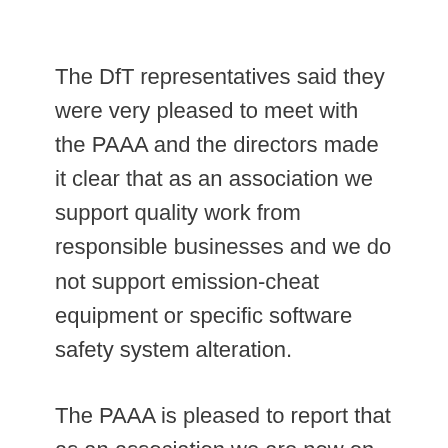The DfT representatives said they were very pleased to meet with the PAAA and the directors made it clear that as an association we support quality work from responsible businesses and we do not support emission-cheat equipment or specific software safety system alteration.
The PAAA is pleased to report that as an association we are now on their informal list of contacts for consultation on subjects of this